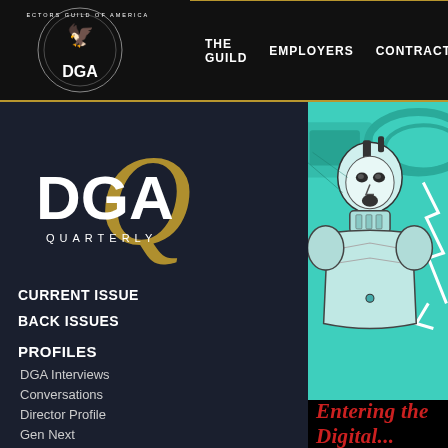[Figure (logo): Directors Guild of America (DGA) circular logo with eagle, white text on black background]
THE GUILD   EMPLOYERS   CONTRACTS   NEW
[Figure (logo): DGA Quarterly logo with large gold Q and white DGA text]
CURRENT ISSUE
BACK ISSUES
PROFILES
DGA Interviews
Conversations
Director Profile
Gen Next
At Work With
Independent Voice
Collaborators
[Figure (illustration): Teal/cyan sketch illustration of a futuristic armored character (resembling Tron) with helmet and suit, looking distressed, with abstract geometric shapes in background]
Entering the Digital...